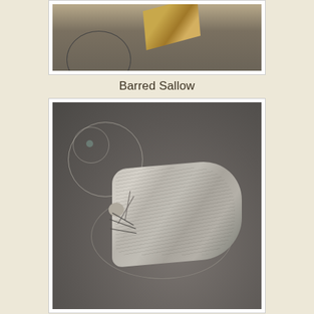[Figure (photo): Partial top photo showing a moth or insect specimen on a grey circular dish surface with a wooden object, cropped at top]
Barred Sallow
[Figure (photo): Photograph of a Barred Sallow moth, light grey/beige colored, resting on a grey surface with a clear plastic spiral/suction cup visible behind it]